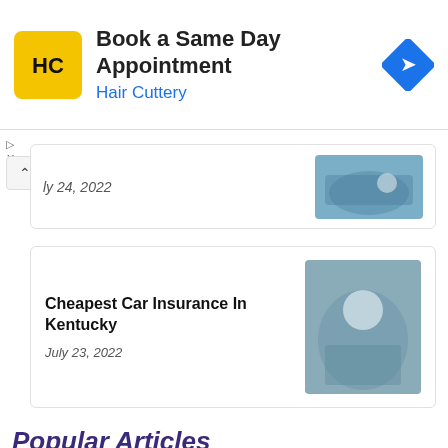[Figure (other): Hair Cuttery advertisement banner with logo and 'Book a Same Day Appointment' text]
ly 24, 2022
[Figure (photo): Person driving a car, partial view]
Cheapest Car Insurance In Kentucky
July 23, 2022
[Figure (photo): Businessman showing tablet to person in car]
Popular Articles
What Is Non Standard Car Insurance
November 4, 2021
[Figure (photo): Two people sitting outside reviewing documents]